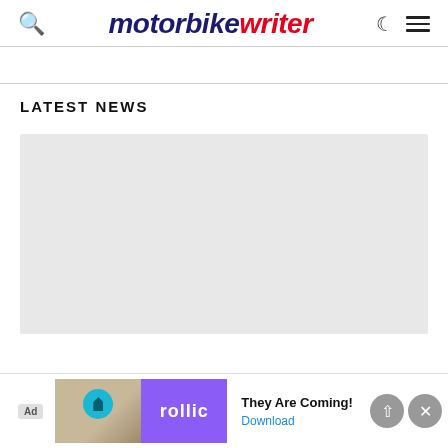motorbike writer
[Figure (screenshot): Gray placeholder image area for latest news featured image]
Latest News
[Figure (other): Ad banner: Rollic game app - They Are Coming! with Download button]